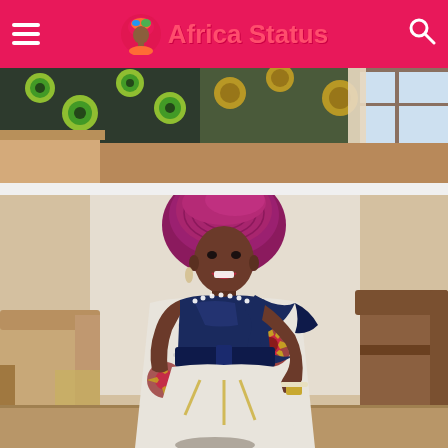Africa Status
[Figure (photo): Partial top view of women in African print clothing and accessories, cropped at the top of the page]
[Figure (photo): Woman wearing a magenta/pink gele (African head wrap) and a white African print dress with navy blue satin ruffle bodice accent, posing indoors with beige chairs in background]